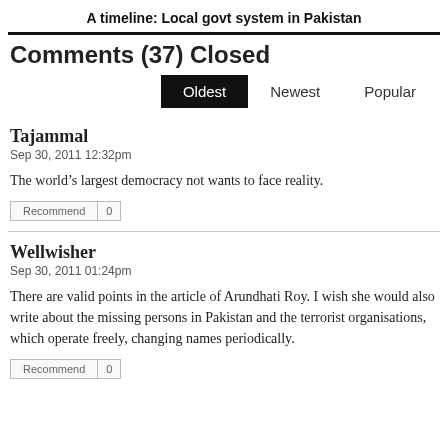A timeline: Local govt system in Pakistan
Comments (37) Closed
Oldest  Newest  Popular
Tajammal
Sep 30, 2011 12:32pm
The world’s largest democracy not wants to face reality.
Wellwisher
Sep 30, 2011 01:24pm
There are valid points in the article of Arundhati Roy. I wish she would also write about the missing persons in Pakistan and the terrorist organisations, which operate freely, changing names periodically.